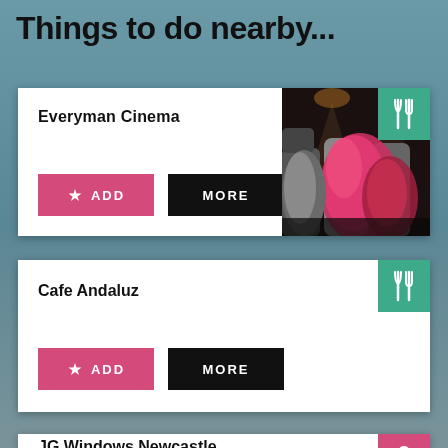Things to do nearby...
Everyman Cinema
ADD
MORE
[Figure (photo): Cinema seats with pink/red cushions in a darkened cinema room with warm overhead lighting]
Cafe Andaluz
ADD
MORE
JG Windows Newcastle
ADD
MORE